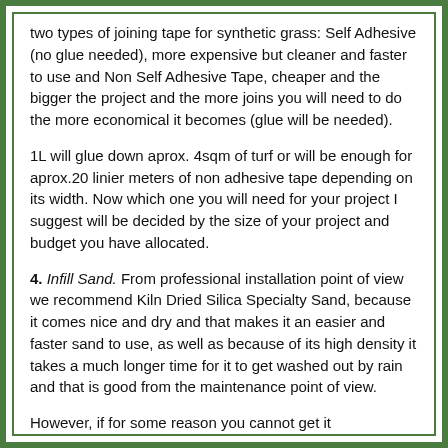two types of joining tape for synthetic grass: Self Adhesive (no glue needed), more expensive but cleaner and faster to use and Non Self Adhesive Tape, cheaper and the bigger the project and the more joins you will need to do the more economical it becomes (glue will be needed).
1L will glue down aprox. 4sqm of turf or will be enough for aprox.20 linier meters of non adhesive tape depending on its width. Now which one you will need for your project I suggest will be decided by the size of your project and budget you have allocated.
4. Infill Sand. From professional installation point of view we recommend Kiln Dried Silica Specialty Sand, because it comes nice and dry and that makes it an easier and faster sand to use, as well as because of its high density it takes a much longer time for it to get washed out by rain and that is good from the maintenance point of view.
However, if for some reason you cannot get it